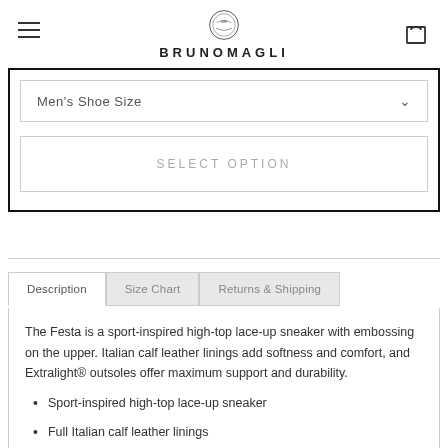BRUNOMAGLI
Men's Shoe Size
SELECT OPTION
Description  Size Chart  Returns & Shipping
The Festa is a sport-inspired high-top lace-up sneaker with embossing on the upper. Italian calf leather linings add softness and comfort, and Extralight® outsoles offer maximum support and durability.
Sport-inspired high-top lace-up sneaker
Full Italian calf leather linings